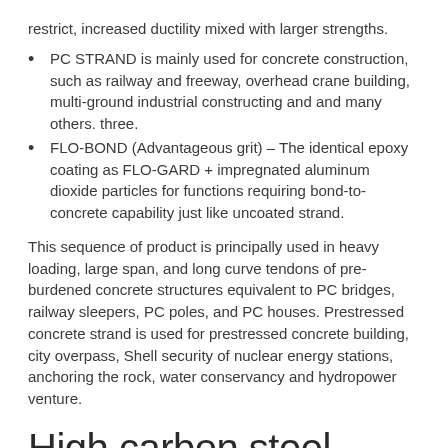restrict, increased ductility mixed with larger strengths.
PC STRAND is mainly used for concrete construction, such as railway and freeway, overhead crane building, multi-ground industrial constructing and and many others. three.
FLO-BOND (Advantageous grit) – The identical epoxy coating as FLO-GARD + impregnated aluminum dioxide particles for functions requiring bond-to-concrete capability just like uncoated strand.
This sequence of product is principally used in heavy loading, large span, and long curve tendons of pre-burdened concrete structures equivalent to PC bridges, railway sleepers, PC poles, and PC houses. Prestressed concrete strand is used for prestressed concrete building, city overpass, Shell security of nuclear energy stations, anchoring the rock, water conservancy and hydropower venture.
High carbon steel